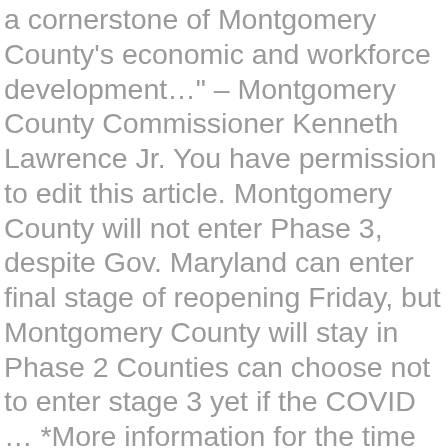a cornerstone of Montgomery County's economic and workforce development…" – Montgomery County Commissioner Kenneth Lawrence Jr. You have permission to edit this article. Montgomery County will not enter Phase 3, despite Gov. Maryland can enter final stage of reopening Friday, but Montgomery County will stay in Phase 2 Counties can choose not to enter stage 3 yet if the COVID … *More information for the time frame of distribution for Phase 2 will be posted as it becomes available. As more vaccine becomes available, vaccination across multiple phases can occur simultaneously. Pennsylvania lays out 3-phase COVID-19 vaccine distribution plan, reports over 7K new cases. *More information for the time frame of distribution for Phase 1C will be posted as it becomes available. The PA Department of Health will be matching Long Term Care Facilities NOT enrolled in the federal partnership with